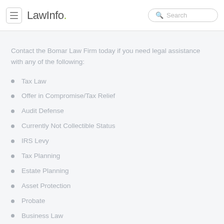LawInfo. Search
Contact the Bomar Law Firm today if you need legal assistance with any of the following:
Tax Law
Offer in Compromise/Tax Relief
Audit Defense
Currently Not Collectible Status
IRS Levy
Tax Planning
Estate Planning
Asset Protection
Probate
Business Law